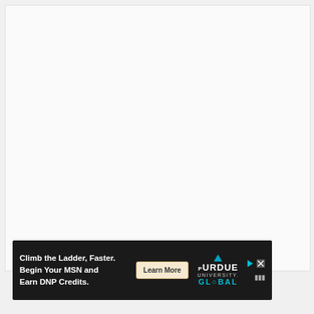[Figure (other): Large white/off-white blank content area taking up most of the page]
[Figure (infographic): Advertisement banner for Purdue University Global. Text reads: 'Climb the Ladder, Faster. Begin Your MSN and Earn DNP Credits.' with a 'Learn More' button and Purdue University Global logo. Dark background with white text.]